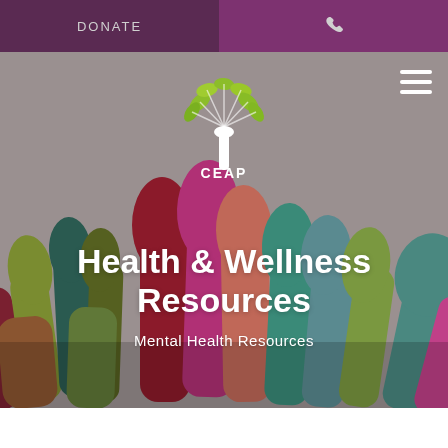DONATE
[Figure (illustration): Colorful raised hands illustration with CEAP logo (hand with leaf tree) and hamburger menu icon on a gray background]
Health & Wellness Resources
Mental Health Resources